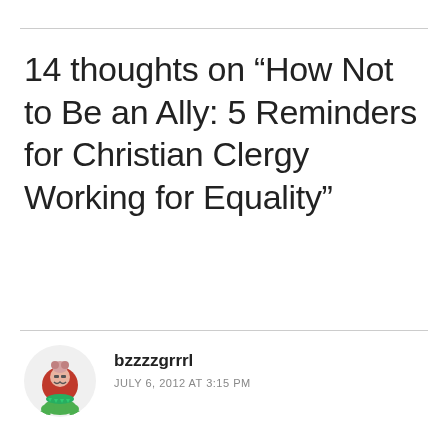14 thoughts on “How Not to Be an Ally: 5 Reminders for Christian Clergy Working for Equality”
bzzzzgrrrl
JULY 6, 2012 AT 3:15 PM